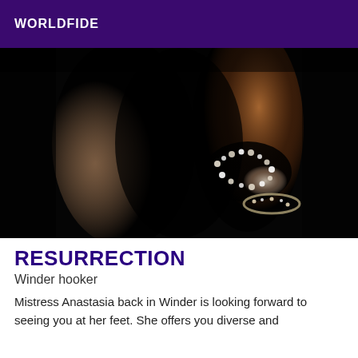WORLDFIDE
[Figure (photo): Close-up dark artistic photo of a person wearing jewelry/accessories against a dark background with warm lighting highlights]
RESURRECTION
Winder hooker
Mistress Anastasia back in Winder is looking forward to seeing you at her feet. She offers you diverse and